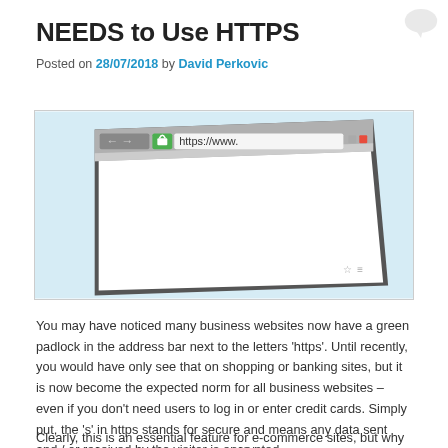NEEDS to Use HTTPS
Posted on 28/07/2018 by David Perkovic
[Figure (illustration): Browser window illustration showing address bar with green padlock and https://www. text on a light blue background]
You may have noticed many business websites now have a green padlock in the address bar next to the letters ‘https’. Until recently, you would have only see that on shopping or banking sites, but it is now become the expected norm for all business websites – even if you don’t need users to log in or enter credit cards. Simply put, the ‘s’ in https stands for secure and means any data sent and / or received by the visitor is encrypted.
Clearly, this is an essential feature for e-commerce sites, but why have all the info-only websites started using https too?